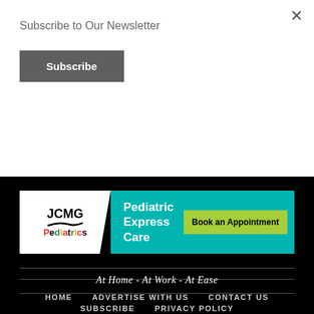Subscribe to Our Newsletter
Subscribe
[Figure (infographic): JCMG Pediatrics advertisement banner with teal background. Left side shows JCMG Pediatrics logo on white background. Right side reads 'Pediatric Express Care' with a yellow-green 'Book an Appointment' button.]
At Home - At Work - At Ease
HOME   ADVERTISE WITH US   CONTACT US   SUBSCRIBE   PRIVACY POLICY